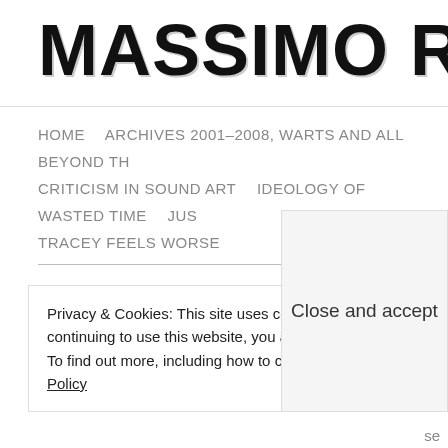MASSIMO RICCI. TOUC
HOME   ARCHIVES 2001–2008, WARTS AND ALL   BEYOND TH   CRITICISM IN SOUND ART   IDEOLOGY OF WASTED TIME   JUS   TRACEY FEELS WORSE
PANTFA – Things
Privacy & Cookies: This site uses cookies. By continuing to use this website, you agree to their use.
To find out more, including how to control co… Cookie Policy
Close and accept
se